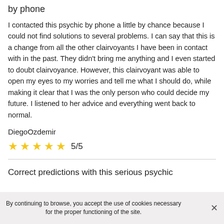by phone
I contacted this psychic by phone a little by chance because I could not find solutions to several problems. I can say that this is a change from all the other clairvoyants I have been in contact with in the past. They didn't bring me anything and I even started to doubt clairvoyance. However, this clairvoyant was able to open my eyes to my worries and tell me what I should do, while making it clear that I was the only person who could decide my future. I listened to her advice and everything went back to normal.
DiegoOzdemir
[Figure (other): 5 gold stars rating with text 5/5]
Correct predictions with this serious psychic
By continuing to browse, you accept the use of cookies necessary for the proper functioning of the site.